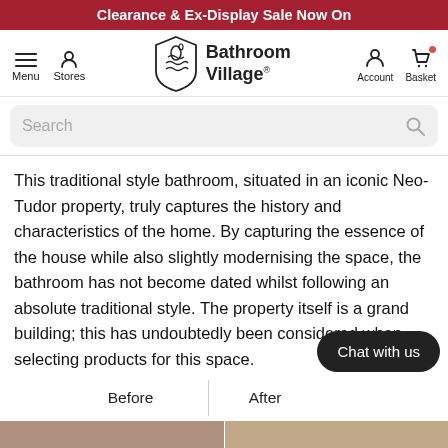Clearance & Ex-Display Sale Now On
[Figure (logo): Bathroom Village logo with shield containing water drop and waves, alongside text 'Bathroom Village']
This traditional style bathroom, situated in an iconic Neo-Tudor property, truly captures the history and characteristics of the home. By capturing the essence of the house while also slightly modernising the space, the bathroom has not become dated whilst following an absolute traditional style. The property itself is a grand building; this has undoubtedly been considered when selecting products for this space.
| Before | After |
| --- | --- |